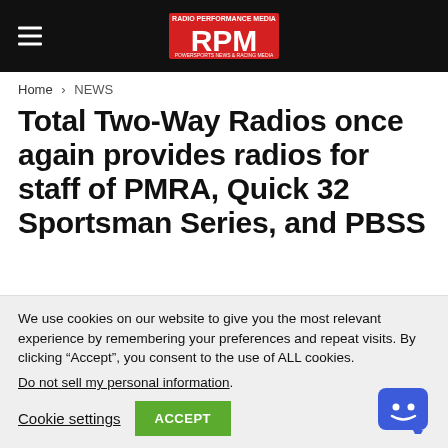RPM (logo/header bar)
Home > NEWS
Total Two-Way Radios once again provides radios for staff of PMRA, Quick 32 Sportsman Series, and PBSS
We use cookies on our website to give you the most relevant experience by remembering your preferences and repeat visits. By clicking “Accept”, you consent to the use of ALL cookies.
Do not sell my personal information.
Cookie settings   ACCEPT